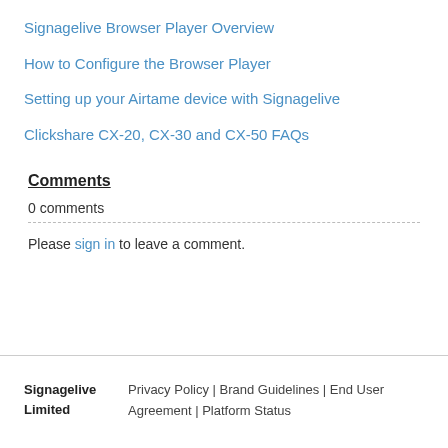Signagelive Browser Player Overview
How to Configure the Browser Player
Setting up your Airtame device with Signagelive
Clickshare CX-20, CX-30 and CX-50 FAQs
Comments
0 comments
Please sign in to leave a comment.
Signagelive Limited   Privacy Policy | Brand Guidelines | End User Agreement | Platform Status